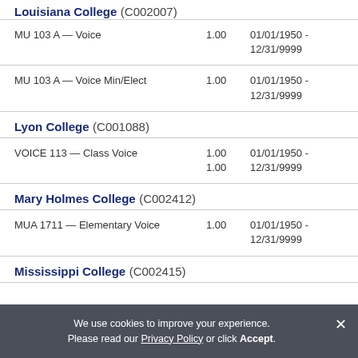Louisiana College (C002007)
| Course | Credits | Dates |
| --- | --- | --- |
| MU 103 A — Voice | 1.00 | 01/01/1950 - 12/31/9999 |
| MU 103 A — Voice Min/Elect | 1.00 | 01/01/1950 - 12/31/9999 |
Lyon College (C001088)
| Course | Credits | Dates |
| --- | --- | --- |
| VOICE 113 — Class Voice | 1.00
1.00 | 01/01/1950 - 12/31/9999 |
Mary Holmes College (C002412)
| Course | Credits | Dates |
| --- | --- | --- |
| MUA 1711 — Elementary Voice | 1.00 | 01/01/1950 - 12/31/9999 |
Mississippi College (C002415)
We use cookies to improve your experience. Please read our Privacy Policy or click Accept.